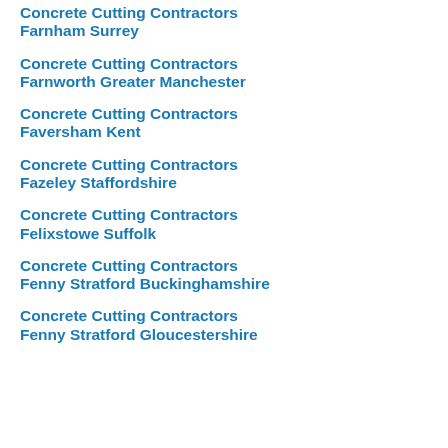Concrete Cutting Contractors Farnham Surrey
Concrete Cutting Contractors Farnworth Greater Manchester
Concrete Cutting Contractors Faversham Kent
Concrete Cutting Contractors Fazeley Staffordshire
Concrete Cutting Contractors Felixstowe Suffolk
Concrete Cutting Contractors Fenny Stratford Buckinghamshire
Concrete Cutting Contractors Fenny Stratford Gloucestershire